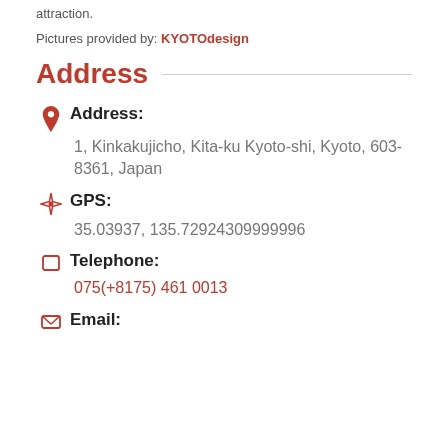attraction.
Pictures provided by: KYOTOdesign
Address
Address: 1, Kinkakujicho, Kita-ku Kyoto-shi, Kyoto, 603-8361, Japan
GPS: 35.03937, 135.72924309999996
Telephone: 075(+8175) 461 0013
Email: